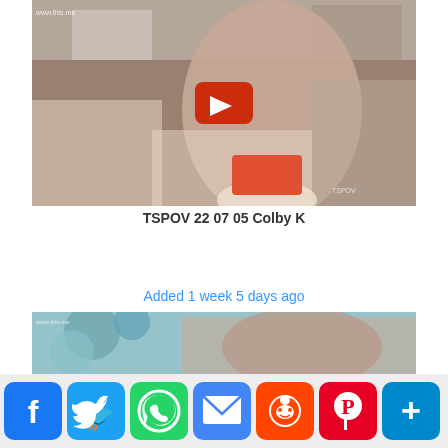[Figure (screenshot): Video thumbnail showing a person in a white outfit holding a small red object, with a YouTube play button overlay. Watermark visible in top-left corner.]
TSPOV 22 07 05 Colby K
Added 1 week 5 days ago
[Figure (screenshot): Second video thumbnail showing a person with dark hair in front of a colorful background.]
[Figure (infographic): Social sharing bar with icons: Facebook, Twitter, WhatsApp, Email, Reddit, Pinterest, More]